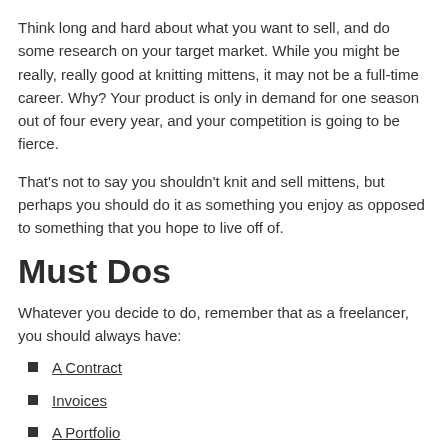Think long and hard about what you want to sell, and do some research on your target market. While you might be really, really good at knitting mittens, it may not be a full-time career. Why? Your product is only in demand for one season out of four every year, and your competition is going to be fierce.
That's not to say you shouldn't knit and sell mittens, but perhaps you should do it as something you enjoy as opposed to something that you hope to live off of.
Must Dos
Whatever you decide to do, remember that as a freelancer, you should always have:
A Contract
Invoices
A Portfolio